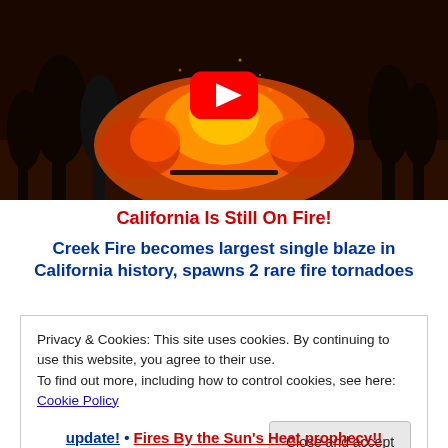[Figure (screenshot): YouTube video thumbnail showing a large wildfire at night with trees silhouetted against bright orange and red flames. A red YouTube play button icon is centered on the image.]
California Is Still On Fire!
Creek Fire becomes largest single blaze in California history, spawns 2 rare fire tornadoes
Privacy & Cookies: This site uses cookies. By continuing to use this website, you agree to their use.
To find out more, including how to control cookies, see here: Cookie Policy
Close and accept
update! • Fires By the Sun's Heat prophecy!!